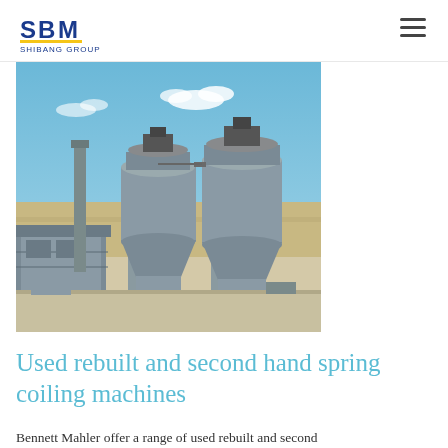SBM Shibang Group
[Figure (photo): Aerial view of two large industrial cement silos/storage tanks on a concrete platform, with blue sky background and flat arid land visible. The silos are grey metal structures with cylindrical tops and conical bottoms supported by legs.]
Used rebuilt and second hand spring coiling machines
Bennett Mahler offer a range of used rebuilt and second